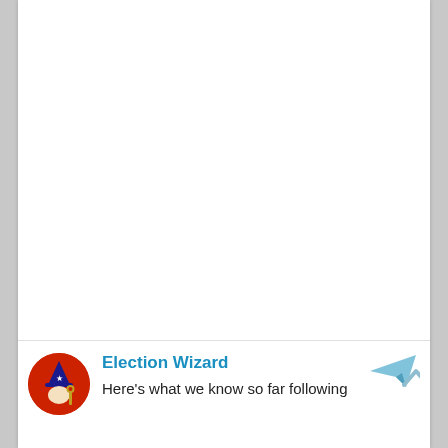[Figure (screenshot): White empty area taking up the top portion of a mobile app screenshot]
Election Wizard
Here's what we know so far following